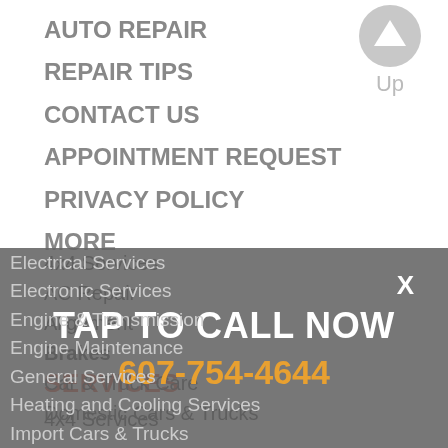AUTO REPAIR
REPAIR TIPS
CONTACT US
APPOINTMENT REQUEST
PRIVACY POLICY
MORE
[Figure (illustration): Gray circular up-arrow button with 'Up' label below]
SERVICES
4x4 Services
AC Repair
Alignment
Brakes
Car & Truck Care
Domestic Cars & Trucks
Electrical Services
Electronic Services
Engine & Transmission
Engine Maintenance
General Services
Heating and Cooling Services
Import Cars & Trucks
TAP TO CALL NOW
607-754-4644